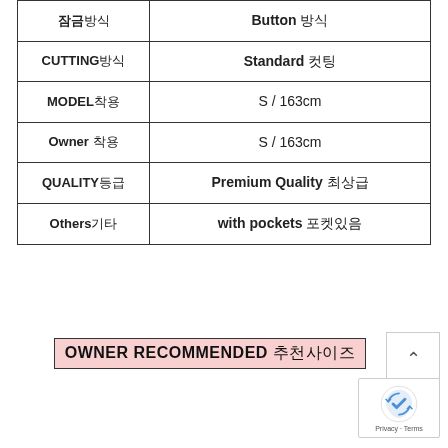| 항목 | 내용 |
| --- | --- |
| 잠금방식 | Button 방식 |
| CUTTING방식 | Standard 컷팅 |
| MODEL착용 | S / 163cm |
| Owner착용 | S / 163cm |
| QUALITY등급 | Premium Quality 최상급 |
| Others기타 | with pockets 포켓있음 |
OWNER RECOMMENDED 추천사이즈